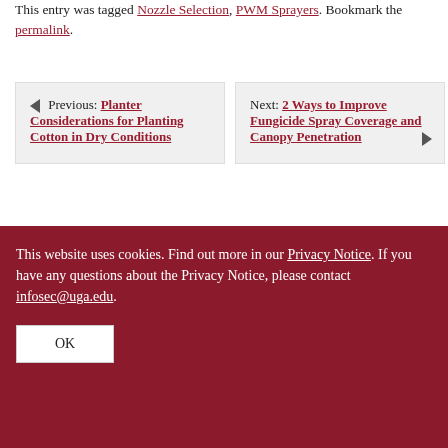This entry was tagged Nozzle Selection, PWM Sprayers. Bookmark the permalink.
◄ Previous: Planter Considerations for Planting Cotton in Dry Conditions
Next: 2 Ways to Improve Fungicide Spray Coverage and Canopy Penetration ►
This website uses cookies. Find out more in our Privacy Notice. If you have any questions about the Privacy Notice, please contact infosec@uga.edu.
OK